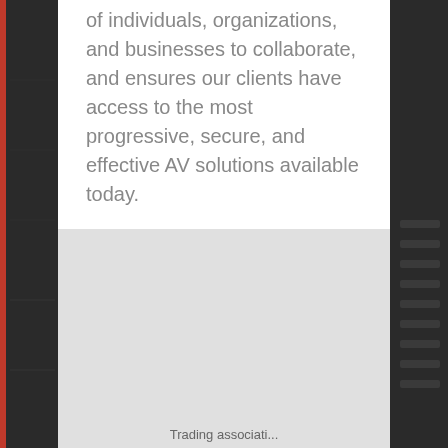of individuals, organizations, and businesses to collaborate, and ensures our clients have access to the most progressive, secure, and effective AV solutions available today.
[Figure (photo): Dark background photograph of an auditorium or venue interior, showing rows of seats on the right side, visible in grayscale on left and right flanks of the page.]
Trading associati...